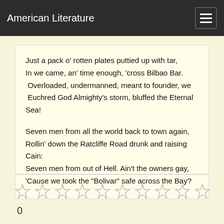American Literature
Just a pack o' rotten plates puttied up with tar,
In we came, an' time enough, 'cross Bilbao Bar.
 Overloaded, undermanned, meant to founder, we
 Euchred God Almighty's storm, bluffed the Eternal Sea!

Seven men from all the world back to town again,
Rollin' down the Ratcliffe Road drunk and raising Cain:
Seven men from out of Hell. Ain't the owners gay,
'Cause we took the "Bolivar" safe across the Bay?
0